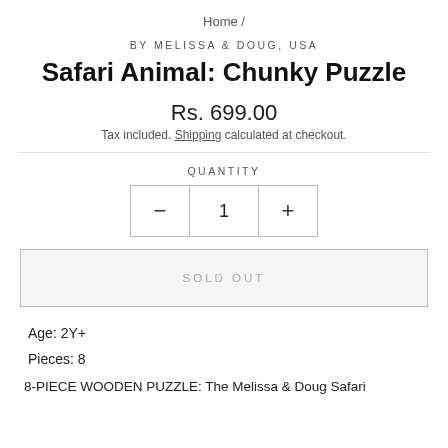Home /
BY MELISSA & DOUG, USA
Safari Animal: Chunky Puzzle
Rs. 699.00
Tax included. Shipping calculated at checkout.
QUANTITY
- 1 +
SOLD OUT
Age: 2Y+
Pieces: 8
8-PIECE WOODEN PUZZLE: The Melissa & Doug Safari